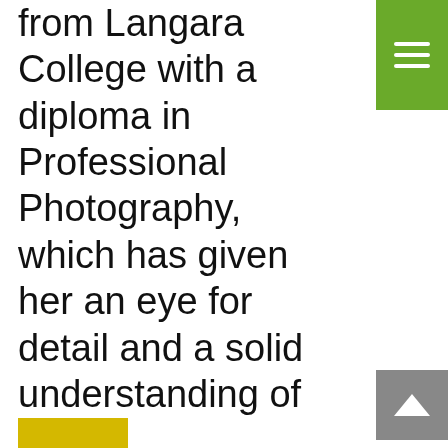from Langara College with a diploma in Professional Photography, which has given her an eye for detail and a solid understanding of visual communications. While attending Langara, she also completed accredited courses in Written Communications, Interpersonal Communications, and Economics. She continued her education at BCIT, while working full-time, completing courses in: Marketing Essentials, Media Techniques, PhotoShop and Graphic Design.
[Figure (other): Green navigation menu button in top-right corner with three horizontal white lines]
[Figure (other): Grey scroll-to-top button on right side with white upward arrow]